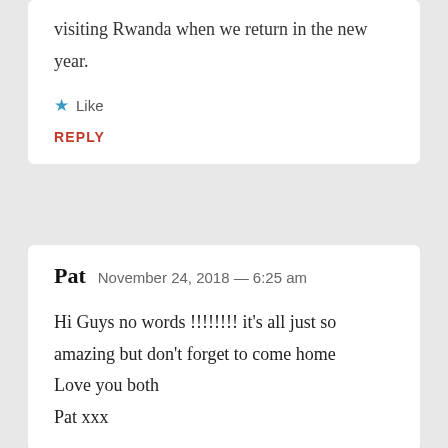visiting Rwanda when we return in the new year.
★ Like
REPLY
Pat  November 24, 2018 — 6:25 am
Hi Guys no words !!!!!!!! it's all just so amazing but don't forget to come home
Love you both
Pat xxx